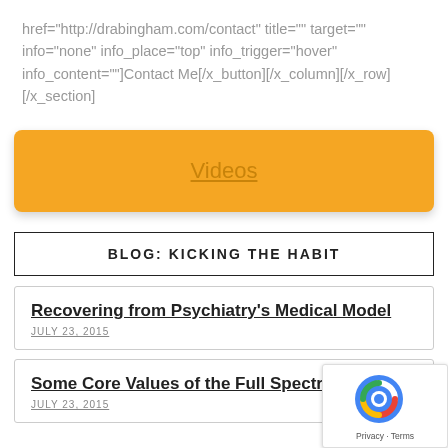href="http://drabingham.com/contact" title="" target="" info="none" info_place="top" info_trigger="hover" info_content=""]Contact Me[/x_button][/x_column][/x_row][/x_section]
[Figure (other): Orange Videos button with underlined text link]
BLOG: KICKING THE HABIT
Recovering from Psychiatry's Medical Model
JULY 23, 2015
Some Core Values of the Full Spectrum Appro...
JULY 23, 2015